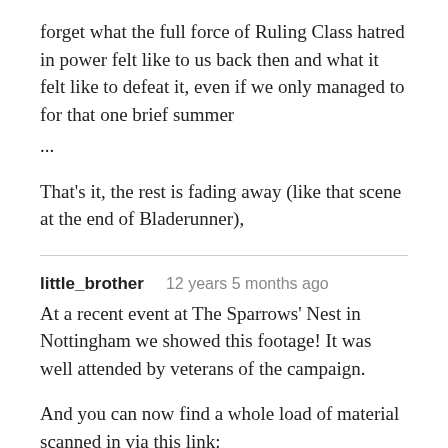forget what the full force of Ruling Class hatred in power felt like to us back then and what it felt like to defeat it, even if we only managed to for that one brief summer ...
That's it, the rest is fading away (like that scene at the end of Bladerunner),
little_brother   12 years 5 months ago
At a recent event at The Sparrows' Nest in Nottingham we showed this footage! It was well attended by veterans of the campaign.
And you can now find a whole load of material scanned in via this link: